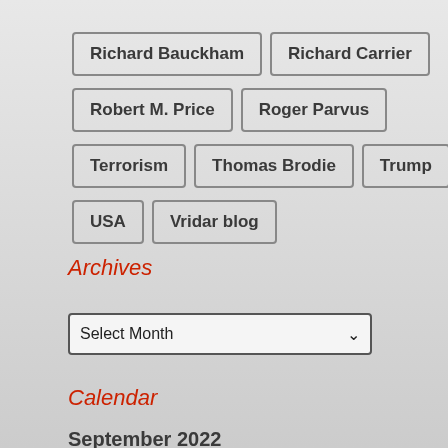Richard Bauckham
Richard Carrier
Robert M. Price
Roger Parvus
Terrorism
Thomas Brodie
Trump
USA
Vridar blog
Archives
Select Month
Calendar
September 2022